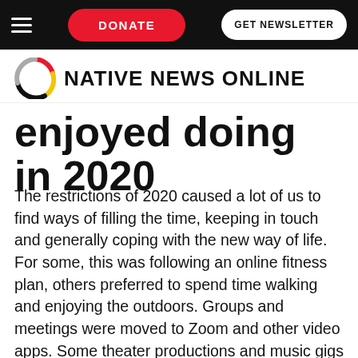DONATE | GET NEWSLETTER
Native News Online
enjoyed doing in 2020
The restrictions of 2020 caused a lot of us to find ways of filling the time, keeping in touch and generally coping with the new way of life. For some, this was following an online fitness plan, others preferred to spend time walking and enjoying the outdoors. Groups and meetings were moved to Zoom and other video apps. Some theater productions and music gigs were even broadcast live online instead of the usual venues we're used to attending in person. Although nobody would have wished for the events of the past year, trying new things may have led to discovering we actually like some of these alternative ways of doing things.